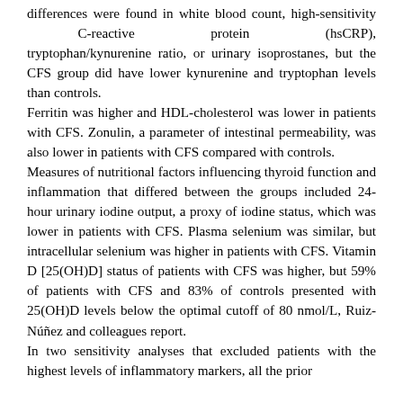differences were found in white blood count, high-sensitivity C-reactive protein (hsCRP), tryptophan/kynurenine ratio, or urinary isoprostanes, but the CFS group did have lower kynurenine and tryptophan levels than controls. Ferritin was higher and HDL-cholesterol was lower in patients with CFS. Zonulin, a parameter of intestinal permeability, was also lower in patients with CFS compared with controls. Measures of nutritional factors influencing thyroid function and inflammation that differed between the groups included 24-hour urinary iodine output, a proxy of iodine status, which was lower in patients with CFS. Plasma selenium was similar, but intracellular selenium was higher in patients with CFS. Vitamin D [25(OH)D] status of patients with CFS was higher, but 59% of patients with CFS and 83% of controls presented with 25(OH)D levels below the optimal cutoff of 80 nmol/L, Ruiz-Núñez and colleagues report. In two sensitivity analyses that excluded patients with the highest levels of inflammatory markers, all the prior